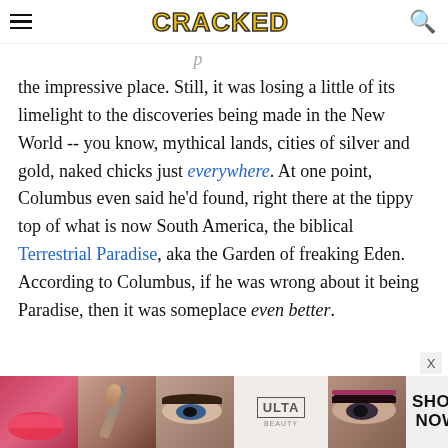CRACKED
the impressive place. Still, it was losing a little of its limelight to the discoveries being made in the New World -- you know, mythical lands, cities of silver and gold, naked chicks just everywhere. At one point, Columbus even said he'd found, right there at the tippy top of what is now South America, the biblical Terrestrial Paradise, aka the Garden of freaking Eden. According to Columbus, if he was wrong about it being Paradise, then it was someplace even better.
[Figure (photo): Ulta Beauty advertisement banner with makeup photos and 'SHOP NOW' call to action]